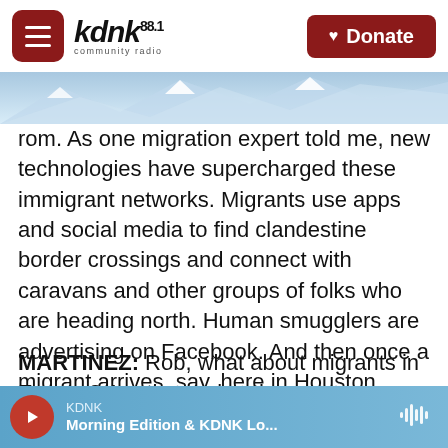KDNK Community Radio — navigation bar with hamburger menu and Donate button
[Figure (photo): Mountain landscape background image strip beneath the navigation bar]
rom. As one migration expert told me, new technologies have supercharged these immigrant networks. Migrants use apps and social media to find clandestine border crossings and connect with caravans and other groups of folks who are heading north. Human smugglers are advertising on Facebook. And then once a migrant arrives, say, here in Houston, there are mobile apps to find out who's hiring, where there's work and how to send money home.
MARTINEZ: Rob, what about migrants in Europe? Are they using these new technologies as well?
KDNK — Morning Edition & KDNK Lo...